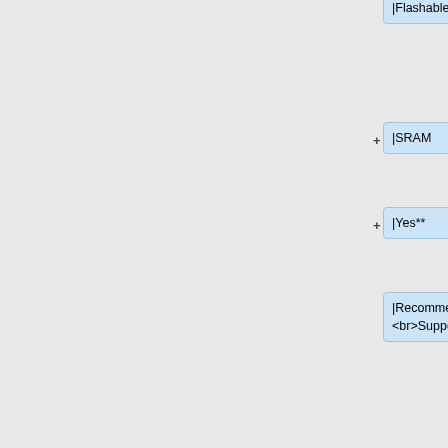|Flashable with GBxCart RW]]
|SRAM
|Yes**
|Recommended 3.3V to erase/program. <br>Supported by FlashGBX v0.7β+
|-
| [[File:SD007_48BALL_64M_V2 - GL032M11BAIR4 (Cannon Fodder).jpg|80px]]